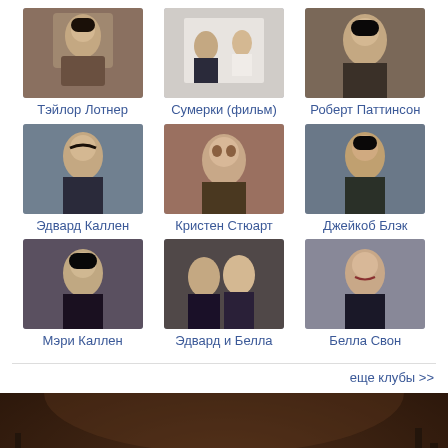[Figure (photo): Grid of 9 thumbnail photos with Russian captions: Тэйлор Лотнер, Сумерки (фильм), Роберт Паттинсон, Эдвард Каллен, Кристен Стюарт, Джейкоб Блэк, Мэри Каллен, Эдвард и Белла, Белла Свон]
еще клубы >>
[Figure (photo): Dark movie poster image of Twilight characters in a forest at dusk, with figures visible at bottom]